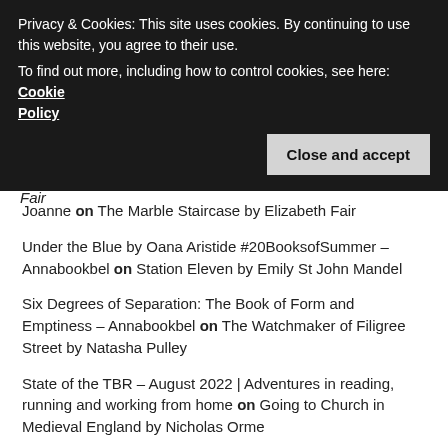Privacy & Cookies: This site uses cookies. By continuing to use this website, you agree to their use. To find out more, including how to control cookies, see here: Cookie Policy
Close and accept
Joanne on The Marble Staircase by Elizabeth Fair
Under the Blue by Oana Aristide #20BooksofSummer – Annabookbel on Station Eleven by Emily St John Mandel
Six Degrees of Separation: The Book of Form and Emptiness – Annabookbel on The Watchmaker of Filigree Street by Natasha Pulley
State of the TBR – August 2022 | Adventures in reading, running and working from home on Going to Church in Medieval England by Nicholas Orme
Recent Posts